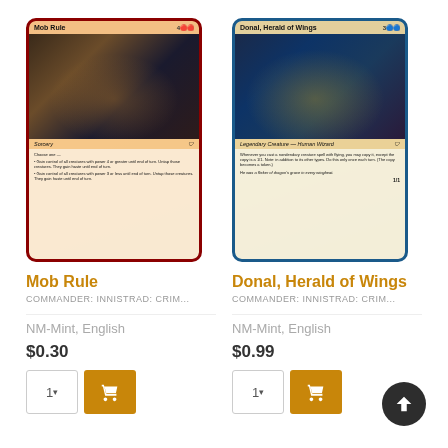[Figure (illustration): Trading card game card: Mob Rule, red-bordered sorcery card with fantasy art showing figures in a mob scene]
Mob Rule
COMMANDER: INNISTRAD: CRIM...
NM-Mint, English
$0.30
[Figure (illustration): Trading card game card: Donal, Herald of Wings, blue-bordered legendary creature Human Wizard card with fantasy art showing a wizard with wings]
Donal, Herald of Wings
COMMANDER: INNISTRAD: CRIM...
NM-Mint, English
$0.99